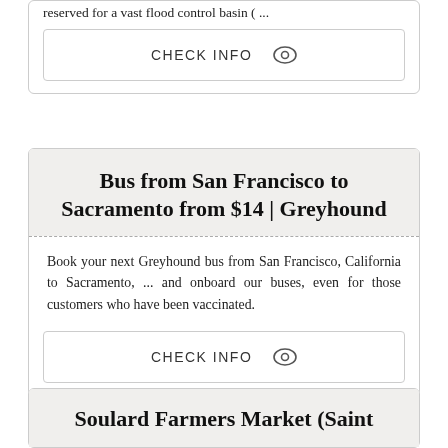reserved for a vast flood control basin ( ...
CHECK INFO
Bus from San Francisco to Sacramento from $14 | Greyhound
Book your next Greyhound bus from San Francisco, California to Sacramento, ... and onboard our buses, even for those customers who have been vaccinated.
CHECK INFO
Soulard Farmers Market (Saint